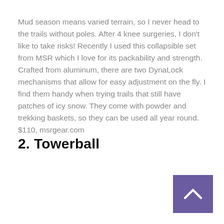Mud season means varied terrain, so I never head to the trails without poles. After 4 knee surgeries, I don't like to take risks! Recently I used this collapsible set from MSR which I love for its packability and strength. Crafted from aluminum, there are two DynaLock mechanisms that allow for easy adjustment on the fly. I find them handy when trying trails that still have patches of icy snow. They come with powder and trekking baskets, so they can be used all year round. $110, msrgear.com
2. Towerball
[Figure (other): Purple square button with an upward chevron arrow, positioned at bottom right corner of the page]